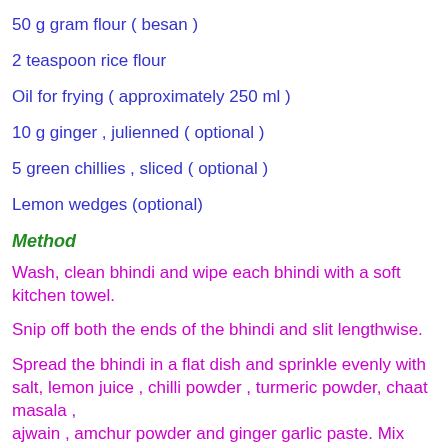50 g gram flour ( besan )
2 teaspoon rice flour
Oil for frying ( approximately 250 ml )
10 g ginger , julienned ( optional )
5 green chillies , sliced ( optional )
Lemon wedges (optional)
Method
Wash, clean bhindi and wipe each bhindi with a soft kitchen towel.
Snip off both the ends of the bhindi and slit lengthwise.
Spread the bhindi in a flat dish and sprinkle evenly with salt, lemon juice , chilli powder , turmeric powder, chaat masala , ajwain , amchur powder and ginger garlic paste. Mix gently